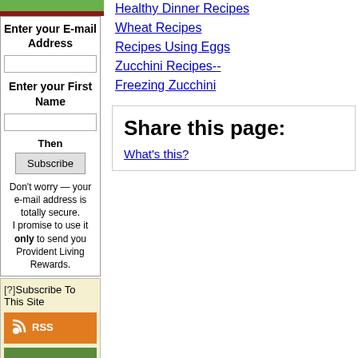Enter your E-mail Address
Enter your First Name
Then
Subscribe
Don't worry — your e-mail address is totally secure. I promise to use it only to send you Provident Living Rewards.
[?]Subscribe To This Site
[Figure (other): RSS button - orange bar with RSS text and feed icon]
[Figure (other): Follow button - green bar with checkmark and Follow text]
[Figure (other): Add to My Yahoo button - blue bar with Yahoo logo]
[Figure (other): Add to My MSN button - blue bar with MSN logo]
[Figure (other): Add to Bloglines button - blue bar with Bloglines logo]
Healthy Dinner Recipes
Wheat Recipes
Recipes Using Eggs
Zucchini Recipes-- Freezing Zucchini
Share this page:
What's this?